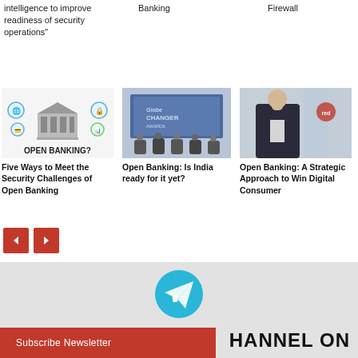intelligence to improve readiness of security operations"
Banking
Firewall
[Figure (illustration): Open Banking illustration with bank building, icons, and text 'OPEN BANKING?']
Five Ways to Meet the Security Challenges of Open Banking
[Figure (photo): Panel discussion at a conference with 'Globe Changer' branding on screen]
Open Banking: Is India ready for it yet?
[Figure (photo): Man in suit posing in front of a wall with a red company logo]
Open Banking: A Strategic Approach to Win Digital Consumer
Subscribe Newsletter
HANNEL ON